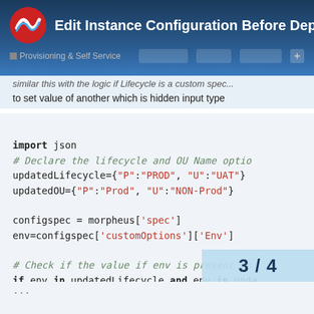Edit Instance Configuration Before Deployment | Provisioning & Self Service
similar this with the logic if Lifecycle is a custom spec to set value of another which is hidden input type
[Figure (screenshot): Python code snippet showing import json, lifecycle and OU dictionaries, configspec and env variable assignments, and conditional checks with configspec assignments]
3 / 4